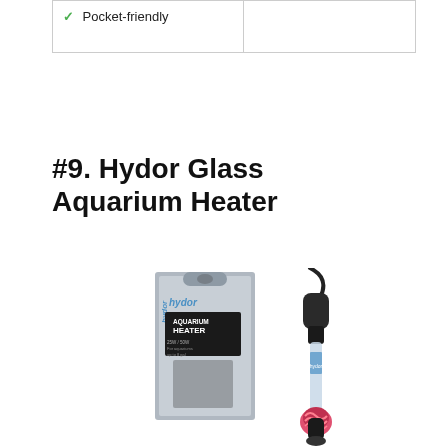| ✓ Pocket-friendly |  |
#9. Hydor Glass Aquarium Heater
[Figure (photo): Product photo of the Hydor Glass Aquarium Heater showing the heater device next to its retail packaging box. The box is silver/gray with blue Hydor branding and shows an aquarium heater inside. The heater itself is black with a pink/red heating element at the bottom and a curved cord at the top.]